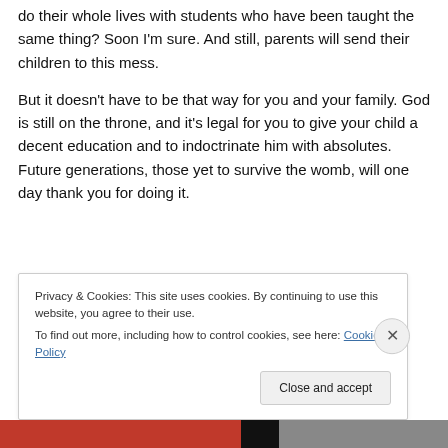do their whole lives with students who have been taught the same thing? Soon I'm sure. And still, parents will send their children to this mess.
But it doesn't have to be that way for you and your family. God is still on the throne, and it's legal for you to give your child a decent education and to indoctrinate him with absolutes. Future generations, those yet to survive the womb, will one day thank you for doing it.
Suggested Questions
Privacy & Cookies: This site uses cookies. By continuing to use this website, you agree to their use.
To find out more, including how to control cookies, see here: Cookie Policy